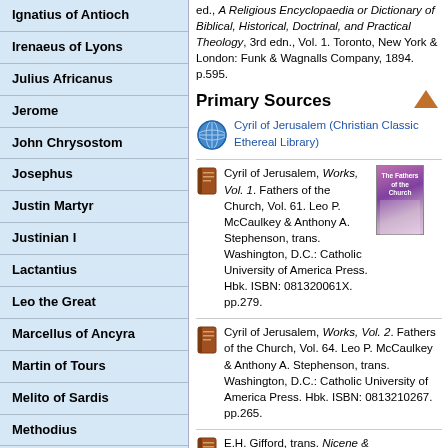Ignatius of Antioch
Irenaeus of Lyons
Julius Africanus
Jerome
John Chrysostom
Josephus
Justin Martyr
Justinian I
Lactantius
Leo the Great
Marcellus of Ancyra
Martin of Tours
Melito of Sardis
Methodius
Minucius Felix
ed., A Religious Encyclopaedia or Dictionary of Biblical, Historical, Doctrinal, and Practical Theology, 3rd edn., Vol. 1. Toronto, New York & London: Funk & Wagnalls Company, 1894. p.595.
Primary Sources
Cyril of Jerusalem (Christian Classic Ethereal Library)
Cyril of Jerusalem, Works, Vol. 1. Fathers of the Church, Vol. 61. Leo P. McCaulkey & Anthony A. Stephenson, trans. Washington, D.C.: Catholic University of America Press. Hbk. ISBN: 081320061X. pp.279.
Cyril of Jerusalem, Works, Vol. 2. Fathers of the Church, Vol. 64. Leo P. McCaulkey & Anthony A. Stephenson, trans. Washington, D.C.: Catholic University of America Press. Hbk. ISBN: 0813210267. pp.265.
E.H. Gifford, trans. Nicene &